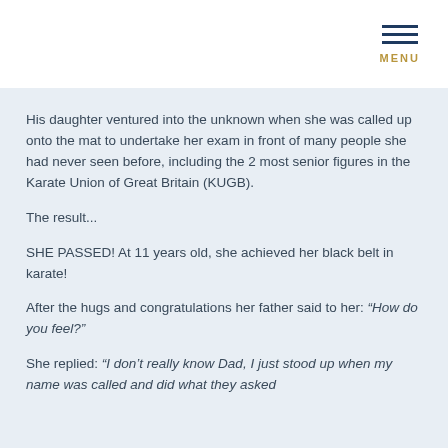MENU
His daughter ventured into the unknown when she was called up onto the mat to undertake her exam in front of many people she had never seen before, including the 2 most senior figures in the Karate Union of Great Britain (KUGB).
The result...
SHE PASSED! At 11 years old, she achieved her black belt in karate!
After the hugs and congratulations her father said to her: “How do you feel?”
She replied: “I don't really know Dad, I just stood up when my name was called and did what they asked